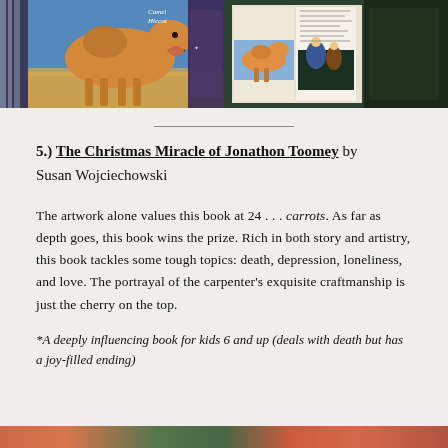[Figure (photo): Two side-by-side photos of a children's picture book about a camel, showing colorful illustrated covers and interior pages]
5.) The Christmas Miracle of Jonathon Toomey by Susan Wojciechowski
The artwork alone values this book at 24 . . . carrots. As far as depth goes, this book wins the prize. Rich in both story and artistry, this book tackles some tough topics: death, depression, loneliness, and love. The portrayal of the carpenter's exquisite craftmanship is just the cherry on the top.
*A deeply influencing book for kids 6 and up (deals with death but has a joy-filled ending)